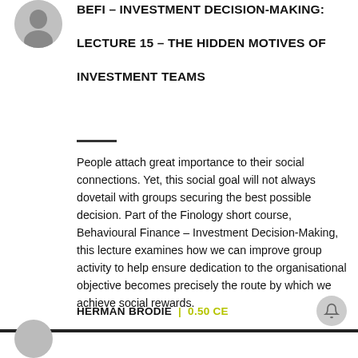[Figure (photo): Circular avatar photo of a person, grayscale]
BEFI – INVESTMENT DECISION-MAKING: LECTURE 15 – THE HIDDEN MOTIVES OF INVESTMENT TEAMS
People attach great importance to their social connections. Yet, this social goal will not always dovetail with groups securing the best possible decision. Part of the Finology short course, Behavioural Finance – Investment Decision-Making, this lecture examines how we can improve group activity to help ensure dedication to the organisational objective becomes precisely the route by which we achieve social rewards.
HERMAN BRODIE | 0.50 CE